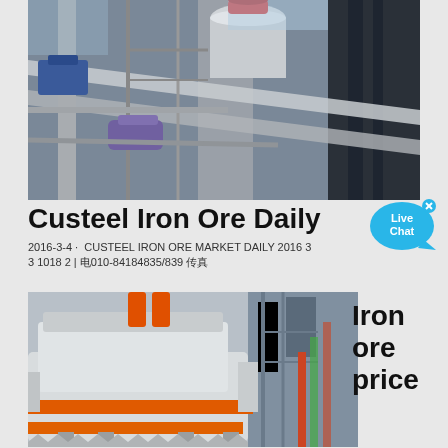[Figure (photo): Industrial facility photo showing conveyor belts, scaffolding, steel structure, cylindrical equipment and building exterior viewed from below at an angle.]
Custeel Iron Ore Daily
2016-3-4 · CUSTEEL IRON ORE MARKET DAILY 2016 3 3 1018 2 | 电010-84184835/839 传真
[Figure (photo): Industrial mining equipment — a large white and orange vibrating screen or crushing machine on a factory floor.]
Iron ore price